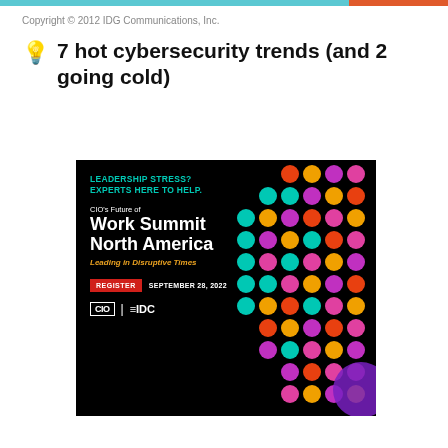Copyright © 2012 IDG Communications, Inc.
7 hot cybersecurity trends (and 2 going cold)
[Figure (illustration): Advertisement for CIO's Future of Work Summit North America. Black background with colorful dot pattern on right side. Text: 'LEADERSHIP STRESS? EXPERTS HERE TO HELP.' in teal, 'CIO's Future of' in white, 'Work Summit North America' in large white bold, 'Leading in Disruptive Times' in orange italic, red REGISTER button, 'SEPTEMBER 28, 2022' in white, CIO and IDC logos at bottom.]